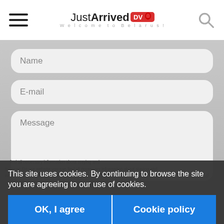[Figure (screenshot): JustArrived.BY website header with hamburger menu, logo, and search icon]
[Figure (screenshot): Contact form with Name, E-mail, and Message fields on a grey background, with a submit arrow button]
This site uses cookies. By continuing to browse the site you are agreeing to our use of cookies.
OK, I agree
Cookie policy